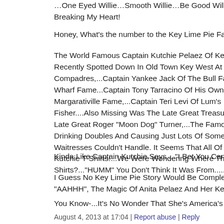…One Eyed Willie…Smooth Willie…Be Good Willie!…Elwo- Breaking My Heart!
Honey, What's the number to the Key Lime Pie Factory?…We-
The World Famous Captain Kutchie Pelaez Of Key West. "Kut- Recently Spotted Down In Old Town Key West At Sloppy Joe'- Compadres,...Captain Yankee Jack Of The Bull Fame,...Miche- Wharf Fame...Captain Tony Tarracino Of His Own Saloon Fam- Margarativille Fame,...Captain Teri Levi Of Lum's Fame,...Mis- Fisher....Also Missing Was The Late Great Treasure Hunter Ca- Late Great Roger "Moon Dog" Turner,...The Famous Group O- Drinking Doubles And Causing Just Lots Of Some Mild-Kind Waitresses Couldn't Handle. It Seems That All Of The Team M- Kutchie T-Shirts!...We Were Wondering Where They Might Ha- Shirts?..."HUMM" You Don't Think It Was From.....?.?.?..........
Kinda Like Captain Kutchie Says... "I Bet You Can't Say Happ-
I Guess No Key Lime Pie Story Would Be Complete Without S- "AAHHH", The Magic Of Anita Pelaez And Her Key Lime Pi-
You Know-...It's No Wonder That She's America's Sweet Heart-
August 4, 2013 at 17:04 | Report abuse | Reply